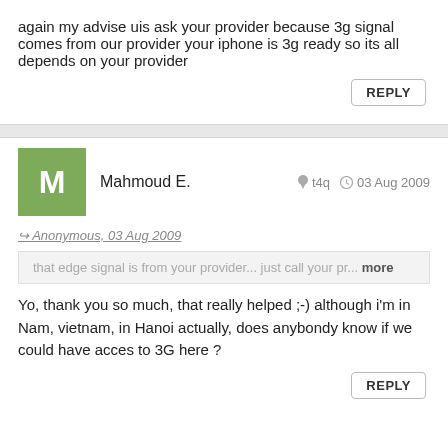again my advise uis ask your provider because 3g signal comes from our provider your iphone is 3g ready so its all depends on your provider
REPLY
Mahmoud E.   t4q   03 Aug 2009
Anonymous, 03 Aug 2009
that edge signal is from your provider... just call your pr... more
Yo, thank you so much, that really helped ;-) although i'm in Nam, vietnam, in Hanoi actually, does anybondy know if we could have acces to 3G here ?
REPLY